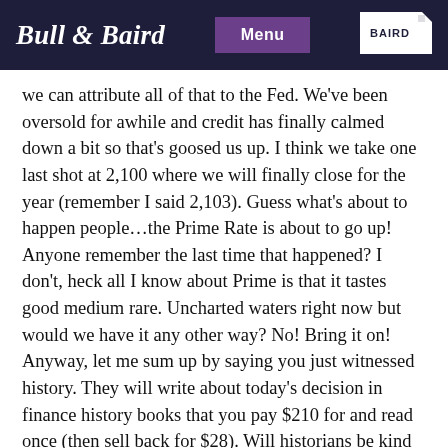Bull & Baird  Menu  BAIRD
we can attribute all of that to the Fed. We've been oversold for awhile and credit has finally calmed down a bit so that's goosed us up. I think we take one last shot at 2,100 where we will finally close for the year (remember I said 2,103). Guess what's about to happen people…the Prime Rate is about to go up! Anyone remember the last time that happened? I don't, heck all I know about Prime is that it tastes good medium rare. Uncharted waters right now but would we have it any other way? No! Bring it on! Anyway, let me sum up by saying you just witnessed history. They will write about today's decision in finance history books that you pay $210 for and read once (then sell back for $28). Will historians be kind to Janet? I think they will because it's better to have small gradual rate hikes than one giant one because our central bank got behind the curve. We have, in Janet Yellen, an amazing chairwoman. She is doing us all